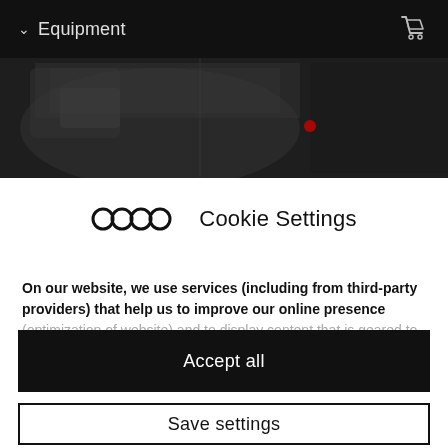Equipment
[Figure (photo): Dark car interior photograph visible behind cookie settings overlay]
[Figure (logo): Audi four rings logo next to Cookie Settings heading]
Cookie Settings
On our website, we use services (including from third-party providers) that help us to improve our online presence (optimization of website) and to display content that is geared to their interests (marketing). The following categories of
Accept all
Save settings